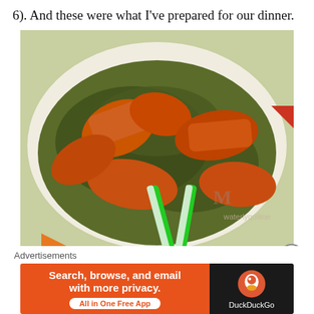6). And these were what I've prepared for our dinner.
[Figure (photo): Photo of crab dish in green curry/sauce on a white plate, with green tongs visible in the foreground. Watermark visible in lower right corner.]
Advertisements
[Figure (other): DuckDuckGo advertisement banner: orange left side reads 'Search, browse, and email with more privacy. All in One Free App', dark right side shows DuckDuckGo logo and name.]